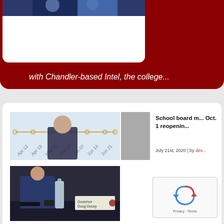[Figure (photo): Photo of people in blue clothing, partially visible at top of card]
with Chandler-based Intel, the college...
[Figure (photo): Photo of a man at a podium or meeting with a timeline chart visible in background]
[Figure (photo): Gray/partial image overlay]
School board m... Oct. 1 reopenin...
July 21st, 2020 | by dev...
[Figure (photo): Photo of person at a table with nameplate reading 'Governor Doug Ducey', water bottles visible]
[Figure (other): reCAPTCHA widget with circular arrows logo and Privacy - Terms footer]